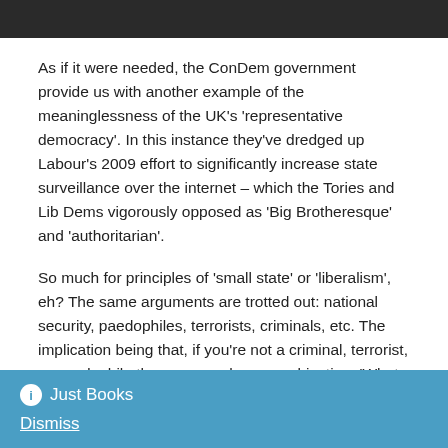[Figure (photo): Top portion of an image, showing a dark background, cropped at the top of the page.]
As if it were needed, the ConDem government provide us with another example of the meaninglessness of the UK's 'representative democracy'. In this instance they've dredged up Labour's 2009 effort to significantly increase state surveillance over the internet – which the Tories and Lib Dems vigorously opposed as 'Big Brotheresque' and 'authoritarian'.
So much for principles of 'small state' or 'liberalism', eh? The same arguments are trotted out: national security, paedophiles, terrorists, criminals, etc. The implication being that, if you're not a criminal, terrorist, or paedophile then you can have no objection. 'What have you got to hide?' Of course, the pressure to implement this legislation comes
ℹ Just Books
Dismiss